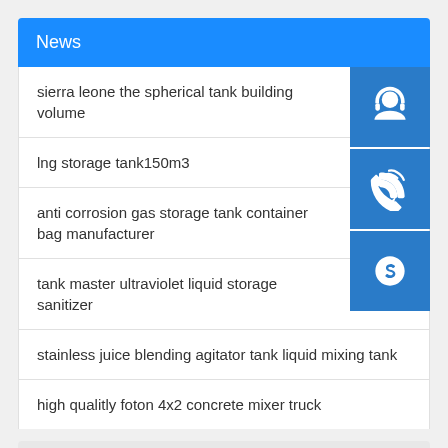News
sierra leone the spherical tank building volume
lng storage tank150m3
anti corrosion gas storage tank container bag manufacturer
tank master ultraviolet liquid storage sanitizer
stainless juice blending agitator tank liquid mixing tank
high qualitly foton 4x2 concrete mixer truck
Contact...